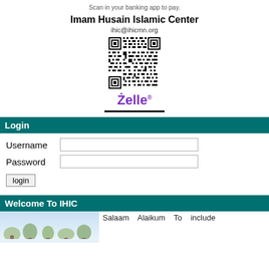Scan in your banking app to pay.
Imam Husain Islamic Center
ihic@ihicmn.org
[Figure (other): QR code for Zelle payment to Imam Husain Islamic Center (ihic@ihicmn.org)]
[Figure (logo): Zelle logo with stylized Z and registered trademark symbol]
Login
Username
Password
login
Welcome To IHIC
[Figure (photo): Outdoor winter or nature scene photo]
Salaam    Alaikum    To    include